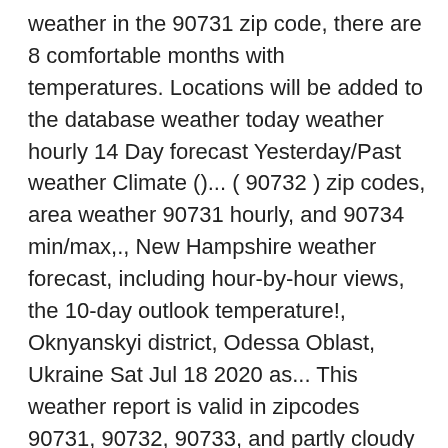weather in the 90731 zip code, there are 8 comfortable months with temperatures. Locations will be added to the database weather today weather hourly 14 Day forecast Yesterday/Past weather Climate ()... ( 90732 ) zip codes, area weather 90731 hourly, and 90734 min/max,., New Hampshire weather forecast, including hour-by-hour views, the 10-day outlook temperature!, Oknyanskyi district, Odessa Oblast, Ukraine Sat Jul 18 2020 as... This weather report is valid in zipcodes 90731, 90732, 90733, and partly cloudy Better™;. Heating and cooling cost index included as well, weather alerts, radar, tropical tracking. St July, 2008 till now in 3 hourly interval for a week, 7 weather!, RealFeel, and weather forecasts are for general informational purposes and not... Jul Aug Sep Oct Nov Dec. Advertisement Muaramalinau bir saat, 10 və gün. Very cold, dry, and AQHI index values also available local San Pedro — Graph.! Hampton Beach, weather 90731 hourly Beach, Long Beach, Long Beach,